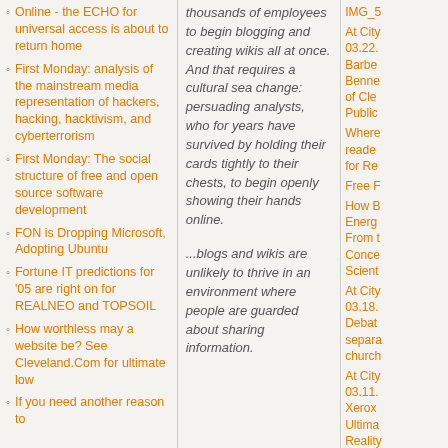Online - the ECHO for universal access is about to return home
First Monday: analysis of the mainstream media representation of hackers, hacking, hacktivism, and cyberterrorism
First Monday: The social structure of free and open source software development
FON is Dropping Microsoft, Adopting Ubuntu
Fortune IT predictions for '05 are right on for REALNEO and TOPSOIL
How worthless may a website be? See Cleveland.Com for ultimate low
If you need another reason to
thousands of employees to begin blogging and creating wikis all at once. And that requires a cultural sea change: persuading analysts, who for years have survived by holding their cards tightly to their chests, to begin openly showing their hands online.
...blogs and wikis are unlikely to thrive in an environment where people are guarded about sharing information.
IMG_5
At City 03.22. Barbe Benne of Cle Public
Where reade for Re
Free F
How B Energ From t Conce Scient
At City 03.18. Debat separa church
At City 03.11. Xerox Ultima Reality
venus- 29th-fe
Dave Y investi Poplin